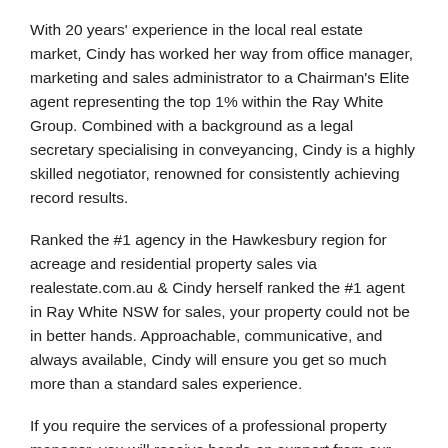With 20 years' experience in the local real estate market, Cindy has worked her way from office manager, marketing and sales administrator to a Chairman's Elite agent representing the top 1% within the Ray White Group. Combined with a background as a legal secretary specialising in conveyancing, Cindy is a highly skilled negotiator, renowned for consistently achieving record results.
Ranked the #1 agency in the Hawkesbury region for acreage and residential property sales via realestate.com.au & Cindy herself ranked the #1 agent in Ray White NSW for sales, your property could not be in better hands. Approachable, communicative, and always available, Cindy will ensure you get so much more than a standard sales experience.
If you require the services of a professional property manager, you will receive hands-on support from our Director of Property Management Di Tutty. With 30 years' experience, Di is committed